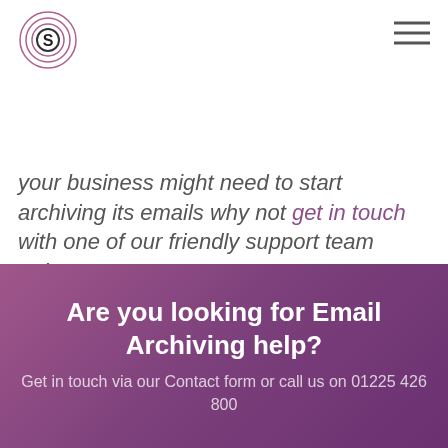[Figure (logo): Circular logo with letter S and concentric arc lines, resembling sound waves]
your business might need to start archiving its emails why not get in touch with one of our friendly support team today?
Are you looking for Email Archiving help?
Get in touch via our Contact form or call us on 01225 426 800